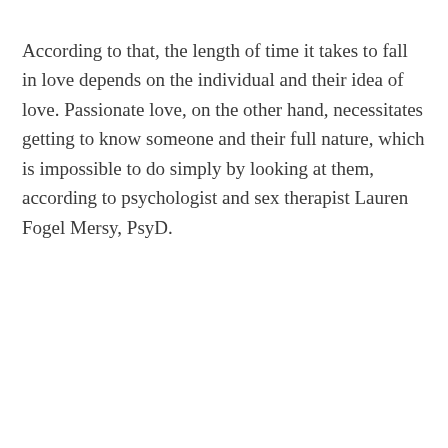According to that, the length of time it takes to fall in love depends on the individual and their idea of love. Passionate love, on the other hand, necessitates getting to know someone and their full nature, which is impossible to do simply by looking at them, according to psychologist and sex therapist Lauren Fogel Mersy, PsyD.